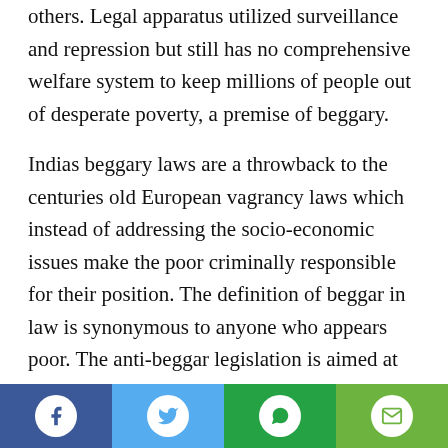others. Legal apparatus utilized surveillance and repression but still has no comprehensive welfare system to keep millions of people out of desperate poverty, a premise of beggary.
Indias beggary laws are a throwback to the centuries old European vagrancy laws which instead of addressing the socio-economic issues make the poor criminally responsible for their position. The definition of beggar in law is synonymous to anyone who appears poor. The anti-beggar legislation is aimed at removing the poor from the face of the city. The beggars who have spent years on the street find it very difficult to live in confined space. However, as the moral basis of traditional society
[Figure (infographic): Social share bar with four buttons: Facebook (dark blue), Twitter (light blue), WhatsApp (green), Email (olive green)]